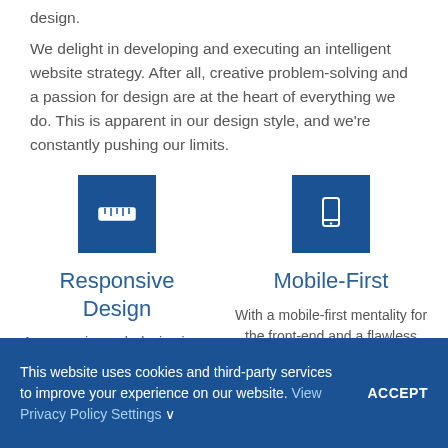design.
We delight in developing and executing an intelligent website strategy. After all, creative problem-solving and a passion for design are at the heart of everything we do. This is apparent in our design style, and we're constantly pushing our limits.
[Figure (illustration): Blue square icon with a white ruler/measurement tool symbol representing Responsive Design]
Responsive Design
A responsive web design is an approach to designing your website
[Figure (illustration): Blue square icon with a white mobile phone/smartphone symbol representing Mobile-First]
Mobile-First
With a mobile-first mentality for the front-end and a flawless CMS on the back-end, the
This website uses cookies and third-party services to improve your experience on our website. View Privacy Policy Settings ∨
ACCEPT